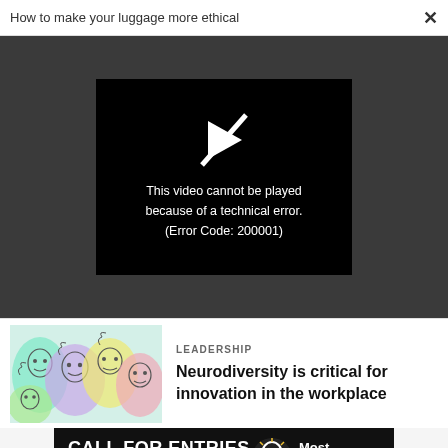How to make your luggage more ethical  ×
[Figure (screenshot): Video player showing error: 'This video cannot be played because of a technical error. (Error Code: 200001)' on black background inside dark gray player area.]
[Figure (illustration): Colorful illustration of overlapping abstract faces with pastel rainbow colors (teal, purple, yellow, pink, green).]
LEADERSHIP
Neurodiversity is critical for innovation in the workplace
[Figure (infographic): Black banner ad: CALL FOR ENTRIES, DEADLINE: SEPTEMBER 23, light bulb icon, Most Innovative Companies text in white.]